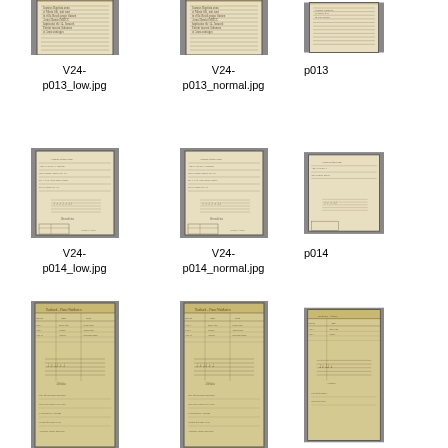[Figure (photo): Thumbnail of manuscript page V24-p013_low.jpg, partially cropped at top]
V24-
p013_low.jpg
[Figure (photo): Thumbnail of manuscript page V24-p013_normal.jpg, partially cropped at top]
V24-
p013_normal.jpg
[Figure (photo): Thumbnail of manuscript page V24-p013, partially cropped at right and top]
V24-
p013
[Figure (photo): Thumbnail of manuscript page V24-p014_low.jpg]
V24-
p014_low.jpg
[Figure (photo): Thumbnail of manuscript page V24-p014_normal.jpg]
V24-
p014_normal.jpg
[Figure (photo): Thumbnail of manuscript page V24-p014, partially cropped at right]
V24-
p014
[Figure (photo): Thumbnail of manuscript page V24-p015_low.jpg, partially cropped at bottom]
[Figure (photo): Thumbnail of manuscript page V24-p015_normal.jpg, partially cropped at bottom]
[Figure (photo): Thumbnail of manuscript page V24-p015, partially cropped at right and bottom]